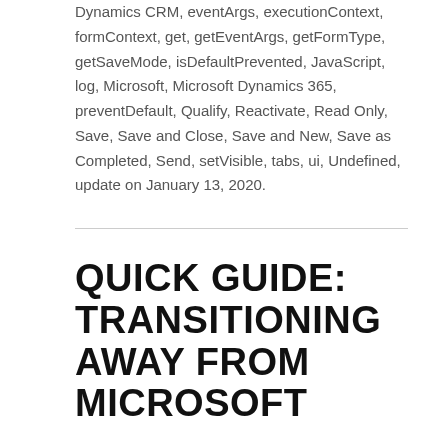Dynamics CRM, eventArgs, executionContext, formContext, get, getEventArgs, getFormType, getSaveMode, isDefaultPrevented, JavaScript, log, Microsoft, Microsoft Dynamics 365, preventDefault, Qualify, Reactivate, Read Only, Save, Save and Close, Save and New, Save as Completed, Send, setVisible, tabs, ui, Undefined, update on January 13, 2020.
QUICK GUIDE: TRANSITIONING AWAY FROM MICROSOFT